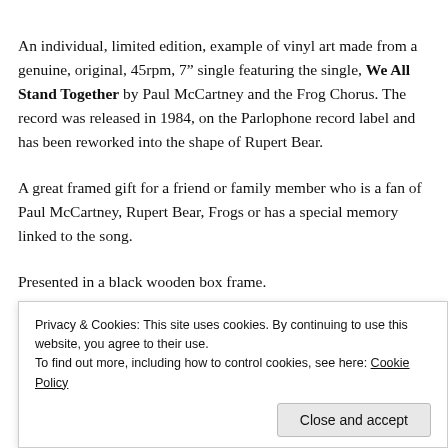An individual, limited edition, example of vinyl art made from a genuine, original, 45rpm, 7" single featuring the single, We All Stand Together by Paul McCartney and the Frog Chorus. The record was released in 1984, on the Parlophone record label and has been reworked into the shape of Rupert Bear.
A great framed gift for a friend or family member who is a fan of Paul McCartney, Rupert Bear, Frogs or has a special memory linked to the song.
Presented in a black wooden box frame.
Privacy & Cookies: This site uses cookies. By continuing to use this website, you agree to their use. To find out more, including how to control cookies, see here: Cookie Policy
Close and accept